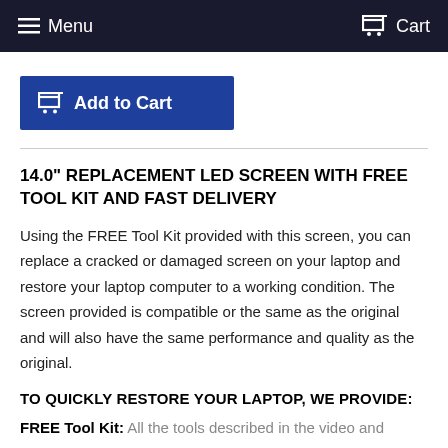Menu   Cart
[Figure (other): Add to Cart button with shopping cart icon]
14.0" REPLACEMENT LED SCREEN WITH FREE TOOL KIT AND FAST DELIVERY
Using the FREE Tool Kit provided with this screen, you can replace a cracked or damaged screen on your laptop and restore your laptop computer to a working condition. The screen provided is compatible or the same as the original and will also have the same performance and quality as the original.
TO QUICKLY RESTORE YOUR LAPTOP, WE PROVIDE:
FREE Tool Kit: All the tools described in the video and